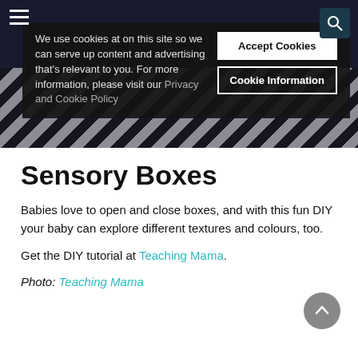[Figure (screenshot): Hero image with dark background and black/white zigzag chevron pattern at bottom, partially visible colourful toys]
We use cookies at on this site so we can serve up content and advertising that's relevant to you. For more information, please visit our Privacy and Cookie Policy
Accept Cookies
Cookie Information
Sensory Boxes
Babies love to open and close boxes, and with this fun DIY your baby can explore different textures and colours, too.
Get the DIY tutorial at Teaching Mama.
Photo: Teaching Mama